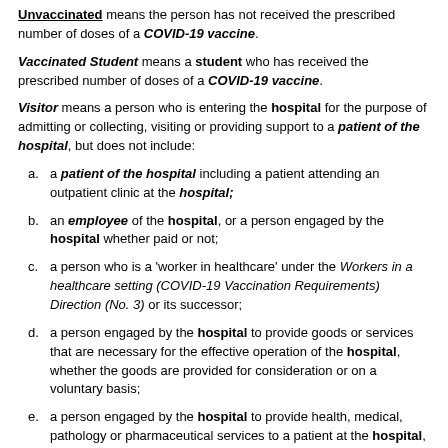Unvaccinated means the person has not received the prescribed number of doses of a COVID-19 vaccine.
Vaccinated Student means a student who has received the prescribed number of doses of a COVID-19 vaccine.
Visitor means a person who is entering the hospital for the purpose of admitting or collecting, visiting or providing support to a patient of the hospital, but does not include:
a. a patient of the hospital including a patient attending an outpatient clinic at the hospital;
b. an employee of the hospital, or a person engaged by the hospital whether paid or not;
c. a person who is a 'worker in healthcare' under the Workers in a healthcare setting (COVID-19 Vaccination Requirements) Direction (No. 3) or its successor;
d. a person engaged by the hospital to provide goods or services that are necessary for the effective operation of the hospital, whether the goods are provided for consideration or on a voluntary basis;
e. a person engaged by the hospital to provide health, medical, pathology or pharmaceutical services to a patient at the hospital, whether the goods or services are provided for consideration or on a voluntary basis;